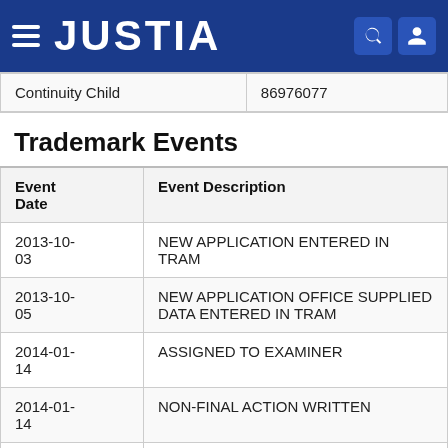JUSTIA
| Continuity Child | 86976077 |
| --- | --- |
Trademark Events
| Event Date | Event Description |
| --- | --- |
| 2013-10-03 | NEW APPLICATION ENTERED IN TRAM |
| 2013-10-05 | NEW APPLICATION OFFICE SUPPLIED DATA ENTERED IN TRAM |
| 2014-01-14 | ASSIGNED TO EXAMINER |
| 2014-01-14 | NON-FINAL ACTION WRITTEN |
| 2014-01- | NON-FINAL ACTION E-MAILED |